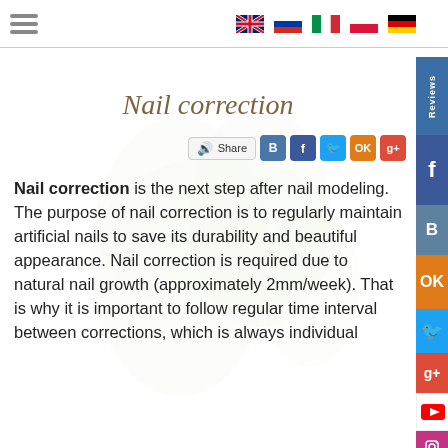Navigation menu and language flags (EN, RU, IT, PL, DE)
Nail correction
[Figure (screenshot): Social share bar with Share button, VK, Facebook, Twitter, Odnoklassniki, Google+ icons]
Nail correction is the next step after nail modeling. The purpose of nail correction is to regularly maintain artificial nails to save its durability and beautiful appearance. Nail correction is required due to natural nail growth (approximately 2mm/week). That is why it is important to follow regular time interval between corrections, which is always individual